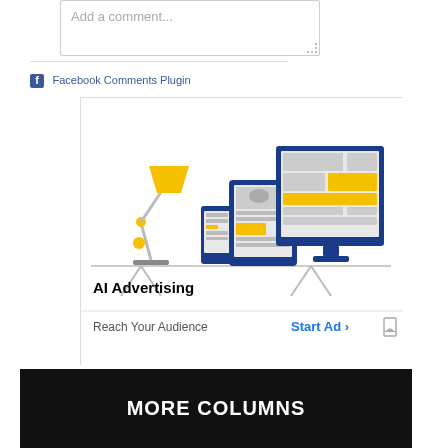Add a comment...
Facebook Comments Plugin
[Figure (illustration): AI Advertising banner ad showing a desk lamp, phone, tablet, and desktop monitor with layout mockups, titled 'AI Advertising' with 'Reach Your Audience' and 'Start Ad' call to action.]
MORE COLUMNS